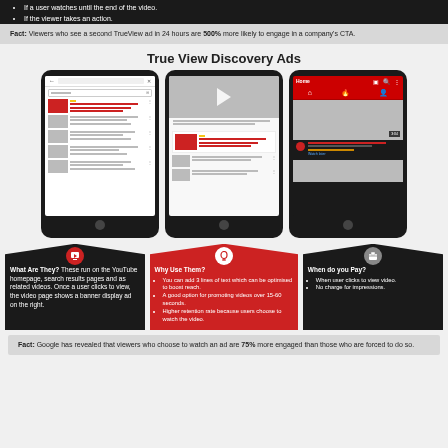If a user watches until the end of the video.
If the viewer takes an action.
Fact: Viewers who see a second TrueView ad in 24 hours are 500% more likely to engage in a company's CTA.
True View Discovery Ads
[Figure (illustration): Three smartphone mockups showing YouTube search results, video page, and YouTube homepage displaying TrueView Discovery Ads]
[Figure (infographic): Three pentagon-shaped info boxes: What Are They? (dark), Why Use Them? (red), When do you Pay? (dark)]
What Are They? These run on the YouTube homepage, search results pages and as related videos. Once a user clicks to view, the video page shows a banner display ad on the right.
Why Use Them? You can add 3 lines of text which can be optimised to boost reach. A good option for promoting videos over 15-60 seconds. Higher retention rate because users choose to watch the video.
When do you Pay? When user clicks to view video. No charge for impressions.
Fact: Google has revealed that viewers who choose to watch an ad are 75% more engaged than those who are forced to do so.